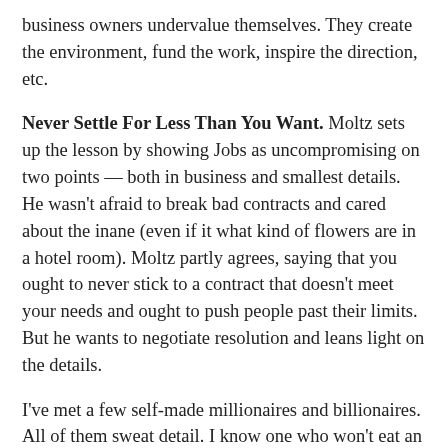business owners undervalue themselves. They create the environment, fund the work, inspire the direction, etc.
Never Settle For Less Than You Want. Moltz sets up the lesson by showing Jobs as uncompromising on two points — both in business and smallest details. He wasn't afraid to break bad contracts and cared about the inane (even if it what kind of flowers are in a hotel room). Moltz partly agrees, saying that you ought to never stick to a contract that doesn't meet your needs and ought to push people past their limits. But he wants to negotiate resolution and leans light on the details.
I've met a few self-made millionaires and billionaires. All of them sweat detail. I know one who won't eat an orange unless it measures out to perfect circumference. I often wonder if maybe they are right. Maybe those inane details matter. Or maybe you need to decide if they matter to you.
More importantly, small business owners sometimes get mixed up anytime the word "negotiation"  comes up in a conversation. It's because many small business owners have